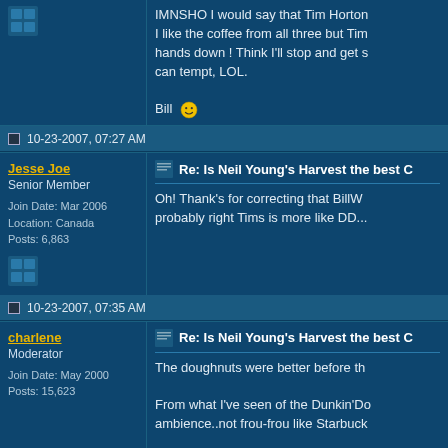IMNSHO I would say that Tim Horton... I like the coffee from all three but Tim... hands down ! Think I'll stop and get s... can tempt, LOL.

Bill 🙂
10-23-2007, 07:27 AM
Jesse Joe
Senior Member

Join Date: Mar 2006
Location: Canada
Posts: 6,863
Re: Is Neil Young's Harvest the best C...

Oh! Thank's for correcting that BillW... probably right Tims is more like DD...
10-23-2007, 07:35 AM
charlene
Moderator

Join Date: May 2000
Posts: 15,623
Re: Is Neil Young's Harvest the best C...

The doughnuts were better before th...

From what I've seen of the Dunkin'Do... ambience..not frou-frou like Starbuck...

The signs say TIMS with no apostrop...